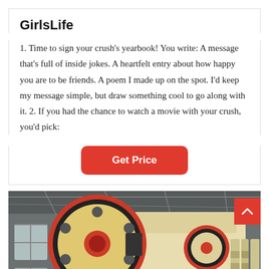GirlsLife
1. Time to sign your crush's yearbook! You write: A message that's full of inside jokes. A heartfelt entry about how happy you are to be friends. A poem I made up on the spot. I'd keep my message simple, but draw something cool to go along with it. 2. If you had the chance to watch a movie with your crush, you'd pick:
Get Price
[Figure (photo): Industrial jaw crusher machine in a factory/warehouse setting. The machine is large, cream/yellow colored with a large red and black flywheel on the left side. The background shows a grey industrial building interior.]